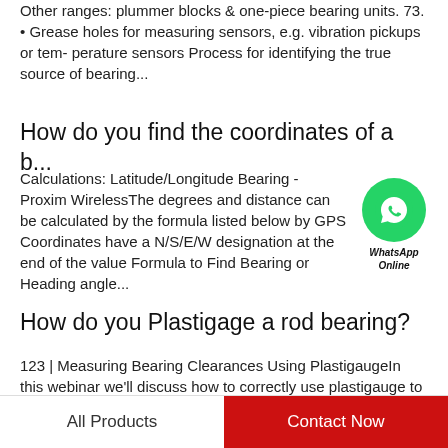Other ranges: plummer blocks & one-piece bearing units. 73. • Grease holes for measuring sensors, e.g. vibration pickups or tem- perature sensors Process for identifying the true source of bearing...
How do you find the coordinates of a b...
Calculations: Latitude/Longitude Bearing - Proxim WirelessThe degrees and distance can be calculated by the formula listed below by GPS Coordinates have a N/S/E/W designation at the end of the value Formula to Find Bearing or Heading angle...
[Figure (logo): WhatsApp Online button — green circle with phone icon and 'WhatsApp Online' text below]
How do you Plastigage a rod bearing?
123 | Measuring Bearing Clearances Using PlastigaugeIn this webinar we'll discuss how to correctly use plastigauge to get the best rod in this case
All Products    Contact Now